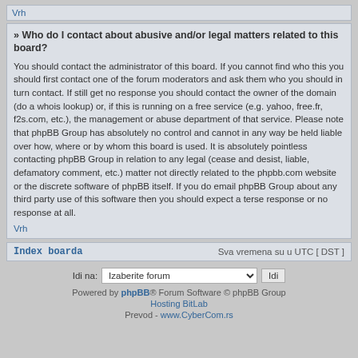Vrh
» Who do I contact about abusive and/or legal matters related to this board?
You should contact the administrator of this board. If you cannot find who this you should first contact one of the forum moderators and ask them who you should in turn contact. If still get no response you should contact the owner of the domain (do a whois lookup) or, if this is running on a free service (e.g. yahoo, free.fr, f2s.com, etc.), the management or abuse department of that service. Please note that phpBB Group has absolutely no control and cannot in any way be held liable over how, where or by whom this board is used. It is absolutely pointless contacting phpBB Group in relation to any legal (cease and desist, liable, defamatory comment, etc.) matter not directly related to the phpbb.com website or the discrete software of phpBB itself. If you do email phpBB Group about any third party use of this software then you should expect a terse response or no response at all.
Vrh
Index boarda
Sva vremena su u UTC [ DST ]
Idi na: Izaberite forum  Idi
Powered by phpBB® Forum Software © phpBB Group
Hosting BitLab
Prevod - www.CyberCom.rs